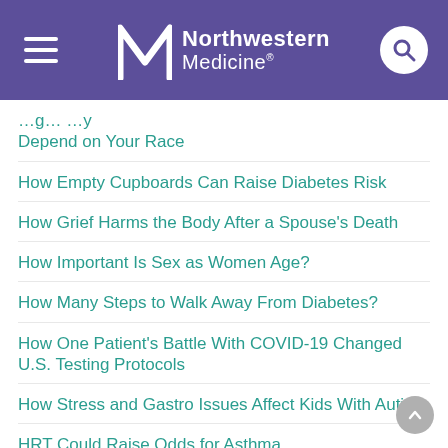Northwestern Medicine
[...] Depend on Your Race
How Empty Cupboards Can Raise Diabetes Risk
How Grief Harms the Body After a Spouse's Death
How Important Is Sex as Women Age?
How Many Steps to Walk Away From Diabetes?
How One Patient's Battle With COVID-19 Changed U.S. Testing Protocols
How Stress and Gastro Issues Affect Kids With Autism
HRT Could Raise Odds for Asthma
HRT Might Help Older Women Ward Off Recurrent UTIs